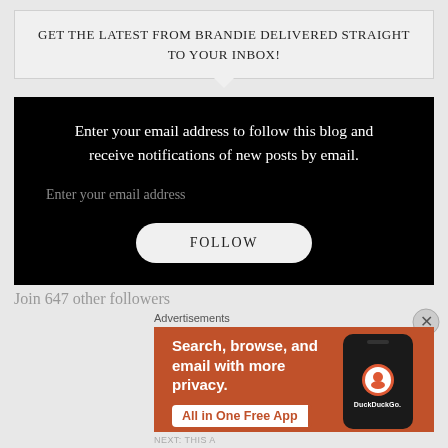GET THE LATEST FROM BRANDIE DELIVERED STRAIGHT TO YOUR INBOX!
Enter your email address to follow this blog and receive notifications of new posts by email.
Enter your email address
FOLLOW
Join 647 other followers
Advertisements
[Figure (screenshot): DuckDuckGo advertisement banner: orange background with text 'Search, browse, and email with more privacy. All in One Free App' and a phone mockup showing DuckDuckGo logo]